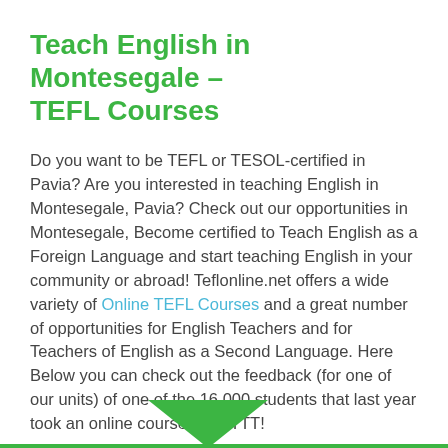Teach English in Montesegale - TEFL Courses
Do you want to be TEFL or TESOL-certified in Pavia? Are you interested in teaching English in Montesegale, Pavia? Check out our opportunities in Montesegale, Become certified to Teach English as a Foreign Language and start teaching English in your community or abroad! Teflonline.net offers a wide variety of Online TEFL Courses and a great number of opportunities for English Teachers and for Teachers of English as a Second Language. Here Below you can check out the feedback (for one of our units) of one of the 16.000 students that last year took an online course with ITTT!